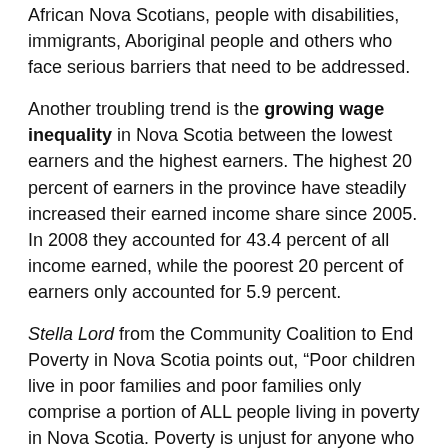African Nova Scotians, people with disabilities, immigrants, Aboriginal people and others who face serious barriers that need to be addressed.
Another troubling trend is the growing wage inequality in Nova Scotia between the lowest earners and the highest earners. The highest 20 percent of earners in the province have steadily increased their earned income share since 2005. In 2008 they accounted for 43.4 percent of all income earned, while the poorest 20 percent of earners only accounted for 5.9 percent.
Stella Lord from the Community Coalition to End Poverty in Nova Scotia points out, “Poor children live in poor families and poor families only comprise a portion of ALL people living in poverty in Nova Scotia. Poverty is unjust for anyone who experiences it daily.” In 2008 there were 75,000 people living below the After Tax Low Income Cut Off or 8.3 percent of the population. This means that one in twelve people in Nova Scotia - including children, people with disabilities, seniors, women, and Aboriginal people -